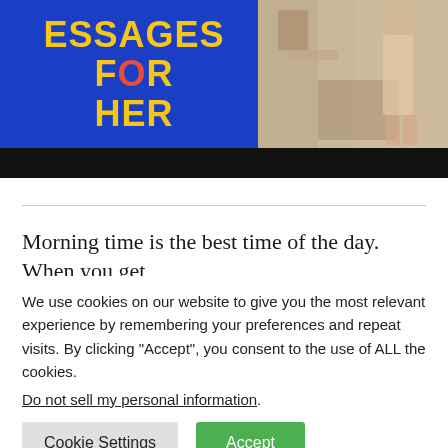[Figure (illustration): Book or article banner image with blue background showing partial text 'ESSAGES FOR HER' in gold/yellow bold lettering, with a red partial letter, and on the right side a photo of a person standing in a room wearing peach/pink clothing, with a black bar at the bottom.]
Morning time is the best time of the day. When you get
We use cookies on our website to give you the most relevant experience by remembering your preferences and repeat visits. By clicking “Accept”, you consent to the use of ALL the cookies. Do not sell my personal information.